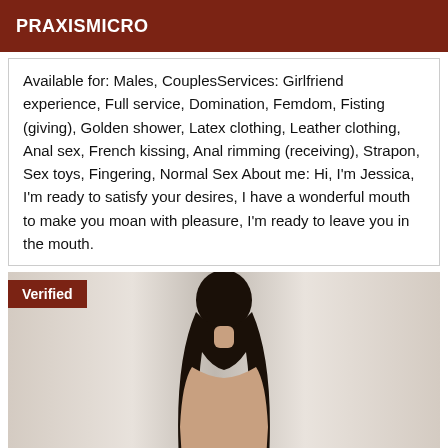PRAXISMICRO
Available for: Males, CouplesServices: Girlfriend experience, Full service, Domination, Femdom, Fisting (giving), Golden shower, Latex clothing, Leather clothing, Anal sex, French kissing, Anal rimming (receiving), Strapon, Sex toys, Fingering, Normal Sex About me: Hi, I'm Jessica, I'm ready to satisfy your desires, I have a wonderful mouth to make you moan with pleasure, I'm ready to leave you in the mouth.
[Figure (photo): Photo of a woman with long dark hair seen from behind, standing near curtains by a window. A 'Verified' badge is overlaid in the top-left corner.]